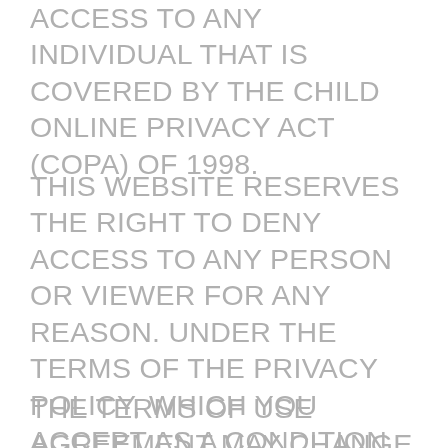ACCESS TO ANY INDIVIDUAL THAT IS COVERED BY THE CHILD ONLINE PRIVACY ACT (COPA) OF 1998.
THIS WEBSITE RESERVES THE RIGHT TO DENY ACCESS TO ANY PERSON OR VIEWER FOR ANY REASON. UNDER THE TERMS OF THE PRIVACY POLICY, WHICH YOU ACCEPT AS A CONDITION FOR VIEWING, THE WEBSITE IS ALLOWED TO COLLECT AND STORE DATA AND INFORMATION FOR THE PURPOSE OF EXCLUSION AND FOR MANY OTHER USES.
THE TERMS OF USE AGREEMENT MAY CHANGE FROM TIME TO TIME. VISITORS HAVE